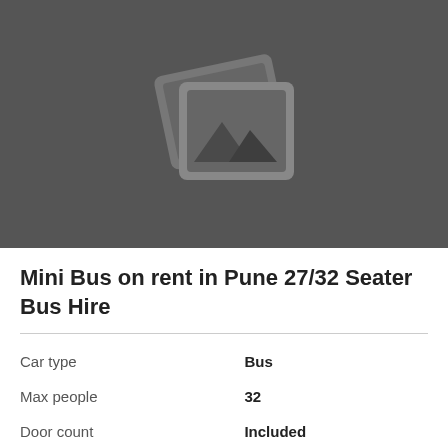[Figure (illustration): Gray placeholder image icon showing overlapping photo frames with a mountain/landscape silhouette inside on a dark gray background]
Mini Bus on rent in Pune 27/32 Seater Bus Hire
|  |  |
| --- | --- |
| Car type | Bus |
| Max people | 32 |
| Door count | Included |
| Minimum driver age | Excluded |